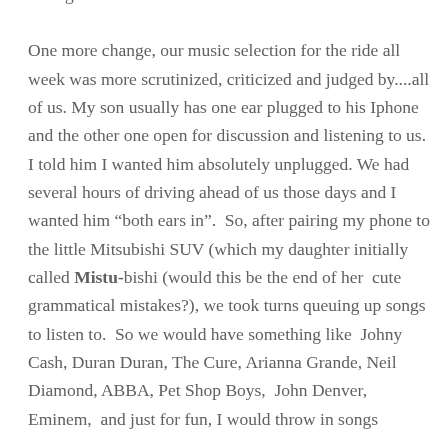through the endless cornfields of Illinois. One more change, our music selection for the ride all week was more scrutinized, criticized and judged by....all of us. My son usually has one ear plugged to his Iphone and the other one open for discussion and listening to us. I told him I wanted him absolutely unplugged. We had several hours of driving ahead of us those days and I wanted him “both ears in”.  So, after pairing my phone to the little Mitsubishi SUV (which my daughter initially called Mistu-bishi (would this be the end of her  cute grammatical mistakes?), we took turns queuing up songs to listen to.  So we would have something like  Johny Cash, Duran Duran, The Cure, Arianna Grande, Neil Diamond, ABBA, Pet Shop Boys,  John Denver, Eminem,  and just for fun, I would throw in songs